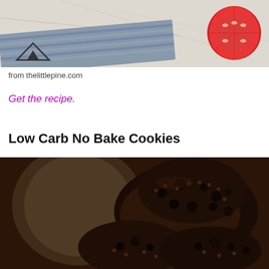[Figure (photo): Top-down view of a marble surface with a folded blue striped cloth/napkin and a halved red tomato. A small mountain logo is visible in the lower left of the photo.]
from thelittlepine.com
Get the recipe.
Low Carb No Bake Cookies
[Figure (photo): Close-up photo of dark chocolate no-bake cookies piled on a surface, showing chunky texture with chocolate chips and oats.]